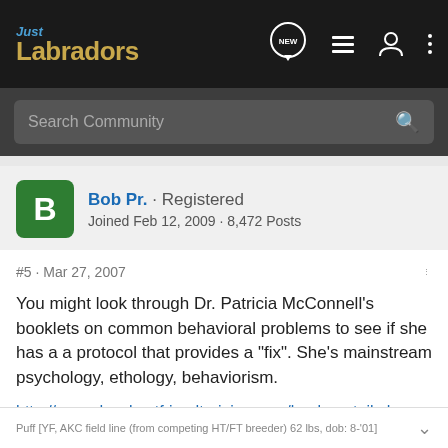Just Labradors — NEW — navigation icons
Search Community
Bob Pr. · Registered
Joined Feb 12, 2009 · 8,472 Posts
#5 · Mar 27, 2007
You might look through Dr. Patricia McConnell's booklets on common behavioral problems to see if she has a a protocol that provides a "fix". She's mainstream psychology, ethology, behaviorism.
http://www.dogsbestfriendtraining.com/books-retail.php
Puff [YF, AKC field line (from competing HT/FT breeder) 62 lbs, dob: 8-'01]